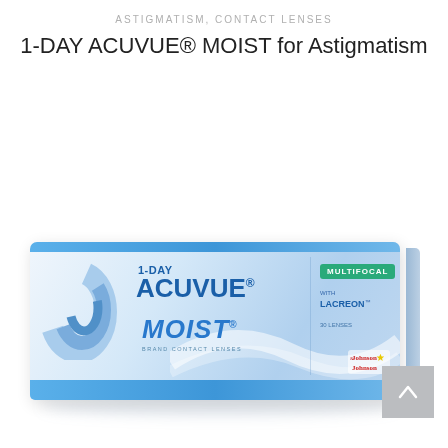ASTIGMATISM, CONTACT LENSES
1-DAY ACUVUE® MOIST for Astigmatism
[Figure (photo): Product box of 1-Day Acuvue Moist Multifocal with Lacreon, 30 lenses contact lens box on white background with scroll-to-top button overlay]